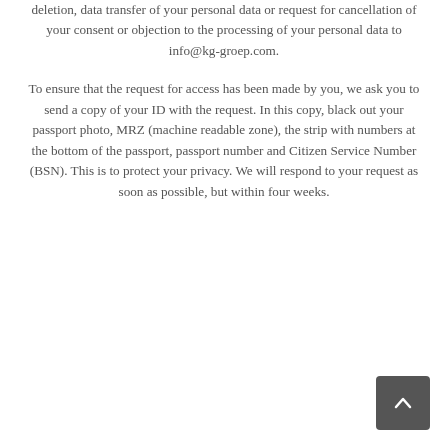deletion, data transfer of your personal data or request for cancellation of your consent or objection to the processing of your personal data to info@kg-groep.com.
To ensure that the request for access has been made by you, we ask you to send a copy of your ID with the request. In this copy, black out your passport photo, MRZ (machine readable zone), the strip with numbers at the bottom of the passport, passport number and Citizen Service Number (BSN). This is to protect your privacy. We will respond to your request as soon as possible, but within four weeks.